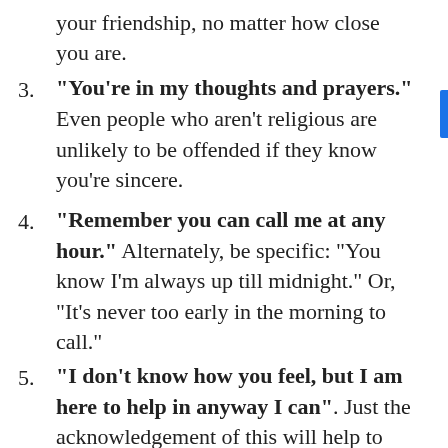your friendship, no matter how close you are.
3. "You're in my thoughts and prayers." Even people who aren't religious are unlikely to be offended if they know you're sincere.
4. "Remember you can call me at any hour." Alternately, be specific: "You know I'm always up till midnight." Or, "It's never too early in the morning to call."
5. "I don't know how you feel, but I am here to help in anyway I can". Just the acknowledgement of this will help to ease tension and will allow your friend or loved one to feel comfortable to share what